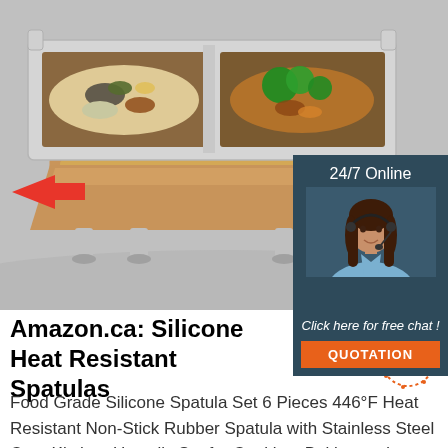[Figure (photo): Product photo of a stainless steel chafing dish with food warmer containing two compartments of food (pasta salad and stir-fry with broccoli), with a red arrow pointing to the side. Gray background. Overlays include a customer service representative with headset and a chat/quotation call-to-action panel.]
Amazon.ca: Silicone Heat Resistant Spatulas
Food Grade Silicone Spatula Set 6 Pieces 446°F Heat Resistant Non-Stick Rubber Spatula with Stainless Steel Core Kitchen Utensils Set for Cooking, Baking and Mixing (Black) 4.7 out of 5